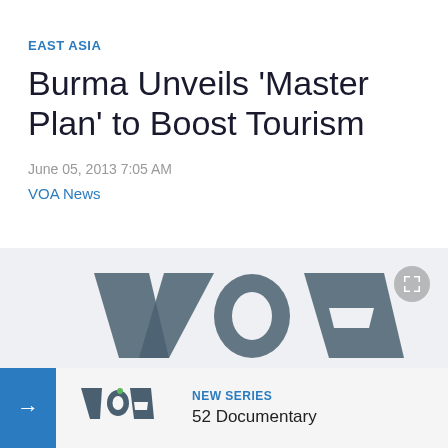EAST ASIA
Burma Unveils 'Master Plan' to Boost Tourism
June 05, 2013 7:05 AM
VOA News
[Figure (screenshot): VOA News video player thumbnail showing large VOA logo on grey background with a 'NEW SERIES / 52 Documentary' banner overlay at the bottom and an expand/fullscreen button in the top-right corner.]